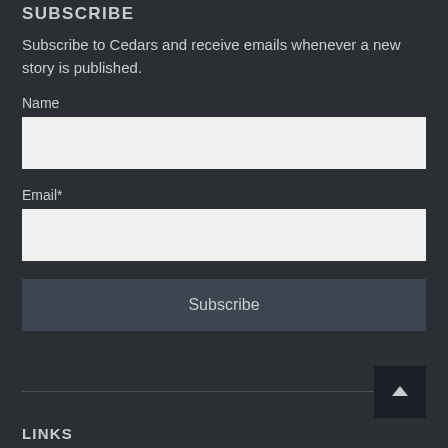SUBSCRIBE
Subscribe to Cedars and receive emails whenever a new story is published.
Name
Email*
Subscribe
LINKS